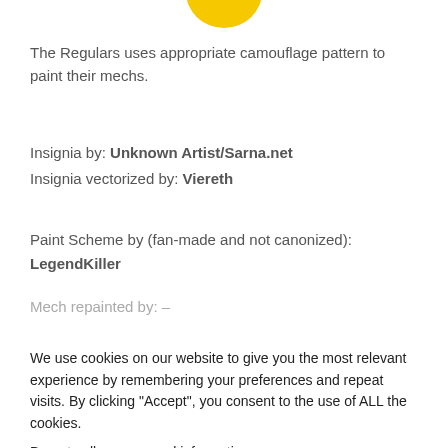[Figure (illustration): Partial view of a yellow circular logo/insignia at the top of the page, cropped]
The Regulars uses appropriate camouflage pattern to paint their mechs.
Insignia by: Unknown Artist/Sarna.net
Insignia vectorized by: Viereth
Paint Scheme by (fan-made and not canonized):
LegendKiller
Mech repainted by: –
We use cookies on our website to give you the most relevant experience by remembering your preferences and repeat visits. By clicking “Accept”, you consent to the use of ALL the cookies.
Do not sell my personal information.